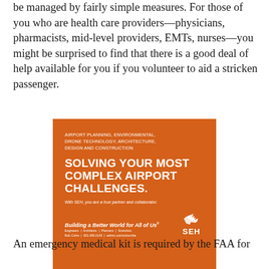be managed by fairly simple measures. For those of you who are health care providers—physicians, pharmacists, mid-level providers, EMTs, nurses—you might be surprised to find that there is a good deal of help available for you if you volunteer to aid a stricken passenger.
[Figure (other): Advertisement for SEH engineering firm. Orange background with white text. Heading: AIRPORT PLANNING, ENVIRONMENTAL, DRONE TECHNOLOGY, ARCHITECTURE, DESIGN AND CONSTRUCTION. Large headline: SOLVING YOUR MOST COMPLEX AIRPORT CHALLENGES. Tagline: With SEH, you are a true partner and collaborator. Bottom: Building a Better World for All of Us. Engineers | Architects | Planners | Scientists. Bob Cohrs | 651.490.2143 | sehinc.com/subscribe. SEH logo.]
An emergency medical kit is required by the FAA for